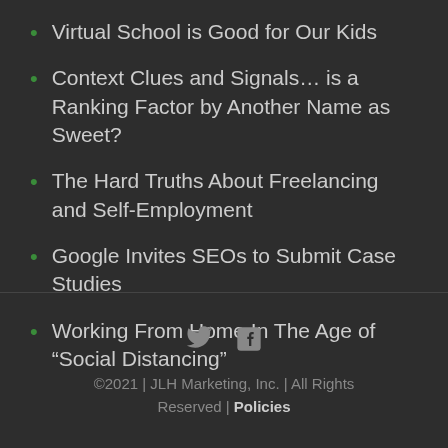Virtual School is Good for Our Kids
Context Clues and Signals… is a Ranking Factor by Another Name as Sweet?
The Hard Truths About Freelancing and Self-Employment
Google Invites SEOs to Submit Case Studies
Working From Home In The Age of “Social Distancing”
©2021 | JLH Marketing, Inc. | All Rights Reserved | Policies